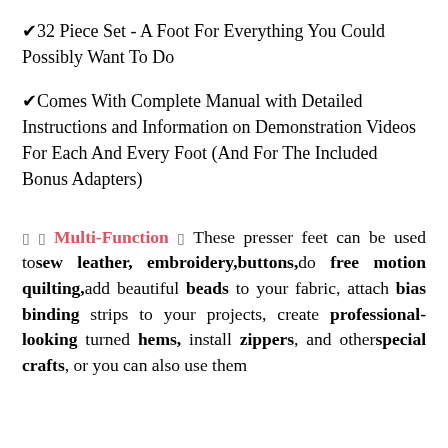✔32 Piece Set - A Foot For Everything You Could Possibly Want To Do
✔Comes With Complete Manual with Detailed Instructions and Information on Demonstration Videos For Each And Every Foot (And For The Included Bonus Adapters)
🔷 🔷 Multi-Function 🔷 These presser feet can be used to sew leather, embroidery, buttons, do free motion quilting, add beautiful beads to your fabric, attach bias binding strips to your projects, create professional-looking turned hems, install zippers, and other special crafts, or you can also use them